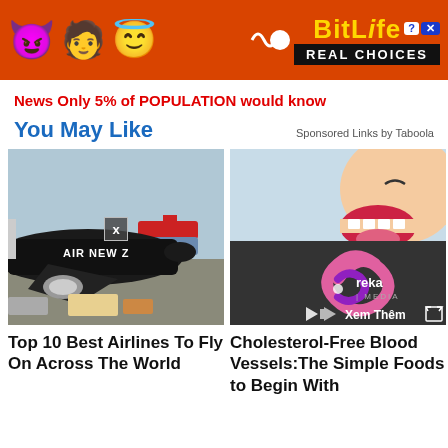[Figure (screenshot): BitLife ad banner with emoji characters (devil, girl, angel), squiggle arrow, BitLife logo in yellow, REAL CHOICES text on black background]
News Only 5% of POPULATION would know
You May Like
Sponsored Links by Taboola
[Figure (photo): Air New Zealand airplane parked at airport gate with ground crew vehicles]
[Figure (illustration): Cartoon face with open mouth and Ureka Media logo with video player controls and Xem Them text]
Top 10 Best Airlines To Fly On Across The World
Cholesterol-Free Blood Vessels:The Simple Foods to Begin With